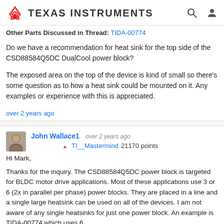Texas Instruments
Other Parts Discussed in Thread: TIDA-00774
Do we have a recommendation for heat sink for the top side of the CSD88584Q5DC DualCool power block?
The exposed area on the top of the device is kind of small so there's some question as to how a heat sink could be mounted on it. Any examples or experience with this is appreciated.
over 2 years ago
John Wallace1  over 2 years ago
TI__Mastermind 21170 points
Hi Mark,
Thanks for the inquiry. The CSD88584Q5DC power block is targeted for BLDC motor drive applications. Most of these applications use 3 or 6 (2x in parallel per phase) power blocks. They are placed in a line and a single large heatsink can be used on all of the devices. I am not aware of any single heatsinks for just one power block. An example is TIDA-00774 which uses 6